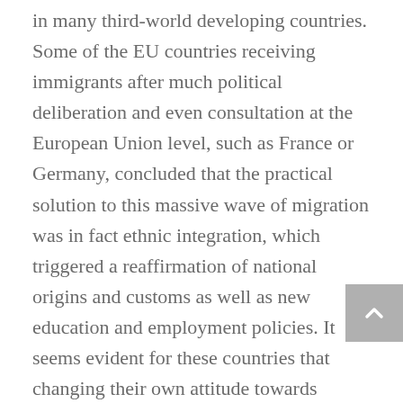in many third-world developing countries. Some of the EU countries receiving immigrants after much political deliberation and even consultation at the European Union level, such as France or Germany, concluded that the practical solution to this massive wave of migration was in fact ethnic integration, which triggered a reaffirmation of national origins and customs as well as new education and employment policies. It seems evident for these countries that changing their own attitude towards multiculturalism and bridging social ties allows socio-economic inclusion for the imminent growing diversity in Europe's population. In this regard the problem with rethinking European identity can be outlined by surpassing the hegemony of Europe as a union of the oldest economical powers and political supremacy. This traditional hegemony used to imply